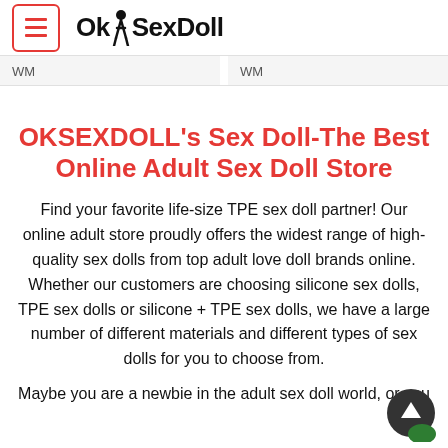OKSexDoll
WM	WM
OKSEXDOLL's Sex Doll-The Best Online Adult Sex Doll Store
Find your favorite life-size TPE sex doll partner! Our online adult store proudly offers the widest range of high-quality sex dolls from top adult love doll brands online. Whether our customers are choosing silicone sex dolls, TPE sex dolls or silicone + TPE sex dolls, we have a large number of different materials and different types of sex dolls for you to choose from.
Maybe you are a newbie in the adult sex doll world, or you